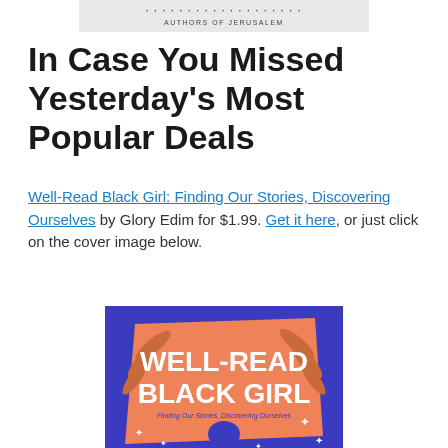[Figure (photo): Top portion of a book cover showing authors names and 'AUTHORS OF JERUSALEM' text, partially cropped]
In Case You Missed Yesterday's Most Popular Deals
Well-Read Black Girl: Finding Our Stories, Discovering Ourselves by Glory Edim for $1.99. Get it here, or just click on the cover image below.
[Figure (photo): Book cover of 'Well-Read Black Girl: Finding Our Stories, Discovering Ourselves' — an anthology with blue background, orange/salmon center panel, white text for the title, decorative leaves, stars, and a silhouette of a woman with natural hair]